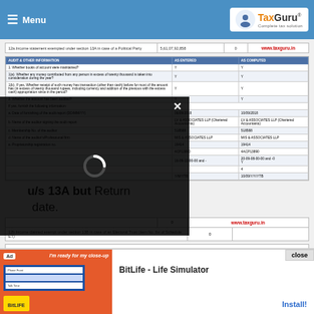Menu | TaxGuru - Complete tax solution
Return is not filed within time and date— exemption is not allowed.
|  |
| --- |
| 12a.Income statement exempted under section 13A in case of a Political Party | 5,61,07,92,858 | 0 | www.taxguru.in |
| AUDIT & OTHER INFORMATION | AS ENTERED | AS COMPUTED |
| --- | --- | --- |
| 1. Whether books of account were maintained? | Y | Y |
| 1(a). Whether any money contributed from any person in excess of twenty thousand is taken into consideration during the year? | Y | Y |
| 1(b). If yes, Whether receipt of such money has transaction (other than cash) before for most of the amount has (in excess of twenty thousand rupees, including currency and addition of the previous with the excess cash) appropriation since in the period? | Y | Y |
| 2. Whether the account has been audited? | Y | Y |
| If yes, furnish the following information: |
| a. Date of furnishing of the audit report (DD/MM/YY) | 06/09/2018 | 10/09/2018 |
| b. Name of the auditor signing the audit report | LV & ASSOCIATES LLP (Chartered Accountants) | LV & ASSOCIATES LLP (Chartered Accountants) |
| c. Membership No. of the auditor | 518588 | 518588 |
| d. Name of the auditor's/Professional firm | M/S & ASSOCIATES LLP | M/S & ASSOCIATES LLP |
| e. Proprietorship registration no. | 19414 | 19414 |
|  | 4CP13890 | 4ACP13890 |
|  | 16-09-13-00-00 and - | 20-09-08-00-00 and -0 |
|  |  | Y |
|  |  | 4 |
|  | Y/M/YTB | 10/09/Y/Y/YTB |
tion u/s 13A but Return date.
|  | 0 | www.taxguru.in |
| 12b.Income claimed exempt under section 13B in case of an Electoral Trust (item No. 6vi of Schedule ET) | 0 |  |
EXTENDED DUE DATE FOR FILING RETURN: 15/10/2019
[Figure (screenshot): Video modal overlay loading spinner]
[Figure (screenshot): Ad overlay: BitLife - Life Simulator advertisement with Install button and close button]